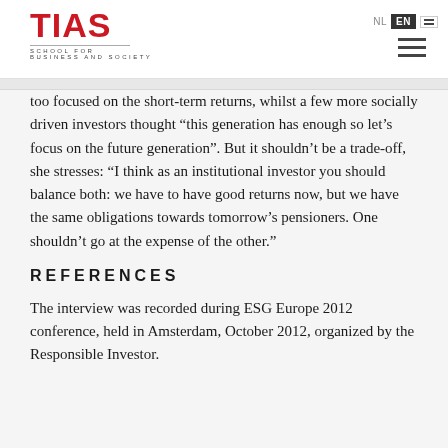TIAS School for Business and Society
too focused on the short-term returns, whilst a few more socially driven investors thought “this generation has enough so let’s focus on the future generation”. But it shouldn’t be a trade-off, she stresses: “I think as an institutional investor you should balance both: we have to have good returns now, but we have the same obligations towards tomorrow’s pensioners. One shouldn’t go at the expense of the other.”
REFERENCES
The interview was recorded during ESG Europe 2012 conference, held in Amsterdam, October 2012, organized by the Responsible Investor.